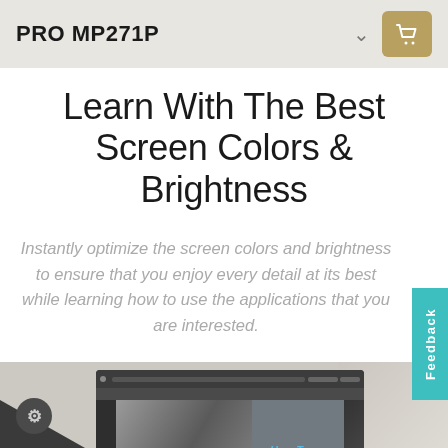PRO MP271P
Learn With The Best Screen Colors & Brightness
Instantly optimize the screen colors and brightness to ensure that you enjoy every detail at its best while learning how to use the applications that you are interested.
[Figure (screenshot): Screenshot of a photo editing application (Photoshop-like) showing an image editing tutorial with text 'How To Remove Spots?' overlaid on a black and white portrait photo, with a man in a suit visible on the right side of the screen]
Feedback